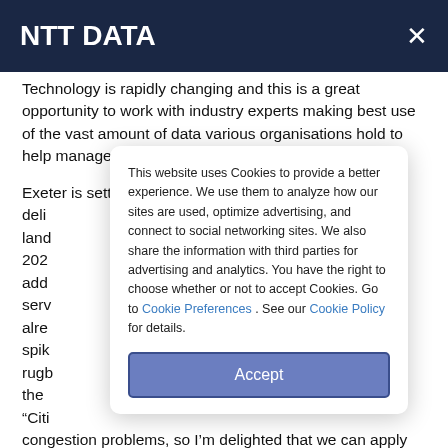NTT DATA
Technology is rapidly changing and this is a great opportunity to work with industry experts making best use of the vast amount of data various organisations hold to help manage our transport network.”
Exeter is setting out a growth plan for the city that will deliver... s land... 202... will add... serv... at alre... f spike... l rugb... of the...
“Citi... congestion problems, so I’m delighted that we can apply NTT DATA’s proven technologies from Japan to drive
This website uses Cookies to provide a better experience. We use them to analyze how our sites are used, optimize advertising, and connect to social networking sites. We also share the information with third parties for advertising and analytics. You have the right to choose whether or not to accept Cookies. Go to Cookie Preferences . See our Cookie Policy for details.
Accept